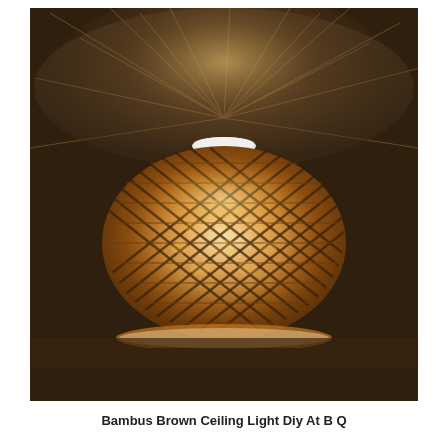[Figure (photo): A woven bamboo brown ceiling light fixture mounted on a ceiling. The lamp shade is a flattened sphere shape made from interlaced bamboo strips in a diamond lattice pattern, glowing warmly from within. Light rays radiate outward across the dark ceiling.]
Bambus Brown Ceiling Light Diy At B Q